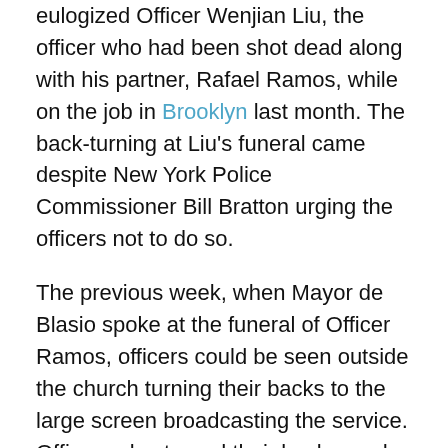eulogized Officer Wenjian Liu, the officer who had been shot dead along with his partner, Rafael Ramos, while on the job in Brooklyn last month. The back-turning at Liu's funeral came despite New York Police Commissioner Bill Bratton urging the officers not to do so.
The previous week, when Mayor de Blasio spoke at the funeral of Officer Ramos, officers could be seen outside the church turning their backs to the large screen broadcasting the service. Officers also turned their backs on de Blasio when he visited the hospital where Liu and Ramos had been pronounced dead.
Rising Tension
The death of the two officers only increased the tension of an already strained relationship between Mayor de Blasio and New York City police unions. Union leaders argue that de Blasio helped create the environment that allowed the two officers to be killed in December by supporting the